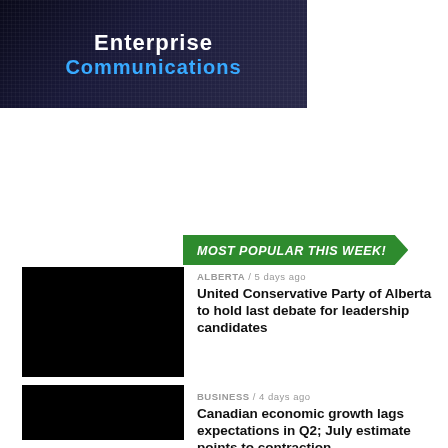[Figure (illustration): Dark banner image with hands shaking over a digital background, text 'Enterprise Communications' in white and blue]
MOST POPULAR THIS WEEK!
ALBERTA / 5 days ago
United Conservative Party of Alberta to hold last debate for leadership candidates
BUSINESS / 4 days ago
Canadian economic growth lags expectations in Q2; July estimate points to contraction
ALBERTA / 4 days ago
Alberta's financial update one for the ages –